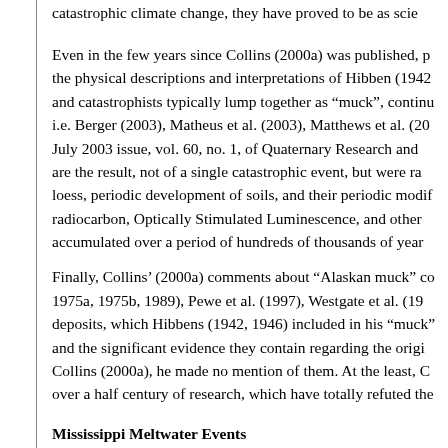catastrophic climate change, they have proved to be as scie
Even in the few years since Collins (2000a) was published, p the physical descriptions and interpretations of Hibben (1942 and catastrophists typically lump together as "muck", continu i.e. Berger (2003), Matheus et al. (2003), Matthews et al. (20 July 2003 issue, vol. 60, no. 1, of Quaternary Research and are the result, not of a single catastrophic event, but were ra loess, periodic development of soils, and their periodic modi radiocarbon, Optically Stimulated Luminescence, and other accumulated over a period of hundreds of thousands of year
Finally, Collins' (2000a) comments about "Alaskan muck" co 1975a, 1975b, 1989), Pewe et al. (1997), Westgate et al. (19 deposits, which Hibbens (1942, 1946) included in his "muck" and the significant evidence they contain regarding the origi Collins (2000a), he made no mention of them. At the least, C over a half century of research, which have totally refuted the
Mississippi Meltwater Events
In Chapter 22, "End of the Ice Age", Collins (2000a) argued t evidence that linked the "termination of the glacial age and i literally, the drowning of Atlantis". Collins (2000a) noted that Mississippi River which the giant...